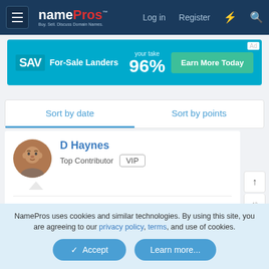namePros — Log in | Register
[Figure (screenshot): SAV For-Sale Landers advertisement banner: 'your take 96%' with 'Earn More Today' button]
Sort by date | Sort by points
D Haynes
Top Contributor  VIP
May 13, 2022
These make for interesting reading. Thanks.
NamePros uses cookies and similar technologies. By using this site, you are agreeing to our privacy policy, terms, and use of cookies.